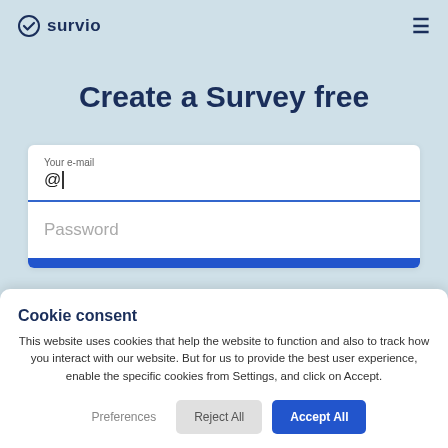survio
Create a Survey free
Your e-mail
@|
Password
Cookie consent
This website uses cookies that help the website to function and also to track how you interact with our website. But for us to provide the best user experience, enable the specific cookies from Settings, and click on Accept.
Preferences  Reject All  Accept All